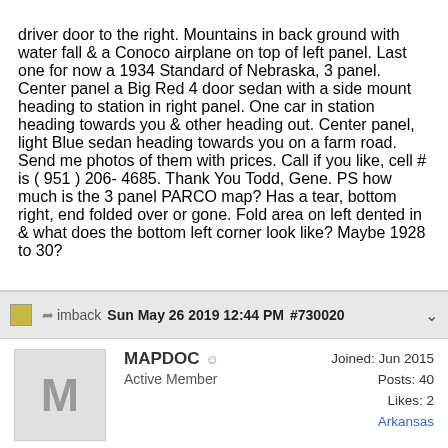driver door to the right. Mountains in back ground with water fall & a Conoco airplane on top of left panel. Last one for now a 1934 Standard of Nebraska, 3 panel. Center panel a Big Red 4 door sedan with a side mount heading to station in right panel. One car in station heading towards you & other heading out. Center panel, light Blue sedan heading towards you on a farm road. Send me photos of them with prices. Call if you like, cell # is ( 951 ) 206- 4685. Thank You Todd, Gene. PS how much is the 3 panel PARCO map? Has a tear, bottom right, end folded over or gone. Fold area on left dented in & what does the bottom left corner look like? Maybe 1928 to 30?
imback  Sun May 26 2019 12:44 PM  #730020
MAPDOC
Active Member
Joined: Jun 2015
Posts: 40
Likes: 2
Arkansas
Gene
Can I send you my list of road maps for sale. I may have some similar to those you want.